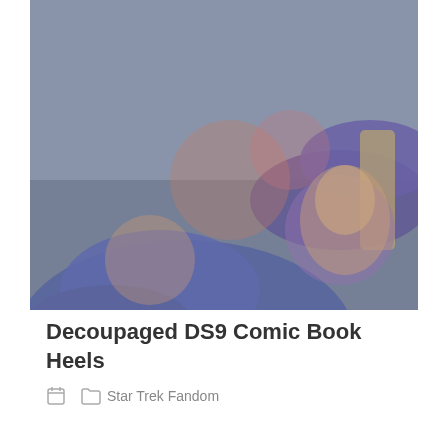[Figure (photo): A pair of custom-decorated high heel shoes covered in decoupaged DS9 (Deep Space Nine) comic book imagery, featuring various Star Trek characters. The shoes are displayed on a dark surface near a laptop.]
Decoupaged DS9 Comic Book Heels
Star Trek Fandom